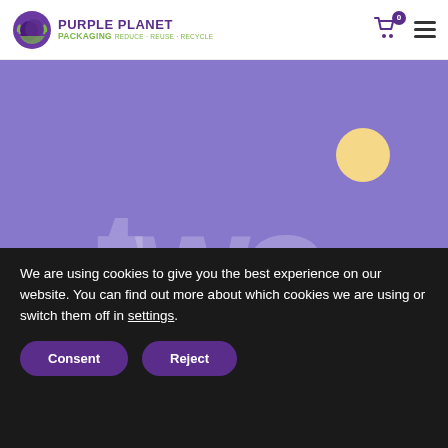Purple Planet Packaging — navigation bar with logo, cart icon (0), and hamburger menu
[Figure (illustration): Purple/lavender banner background with large semi-transparent white text 'two.' and a yellow circle accent in the upper right area]
PURPLEPLANET ANNOUNCE NEW PAYMENTS PARTNERSHIP WITH TWO.
PurplePlanet are delighted to announce a new payments partnership with Two, the Buy Now Pay Later solution for ...
We are using cookies to give you the best experience on our website. You can find out more about which cookies we are using or switch them off in settings.